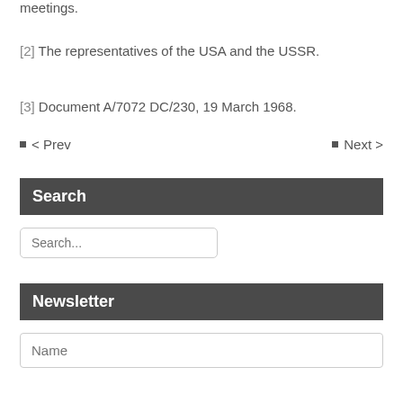meetings.
[2] The representatives of the USA and the USSR.
[3] Document A/7072 DC/230, 19 March 1968.
< Prev
Next >
Search
Search...
Newsletter
Name